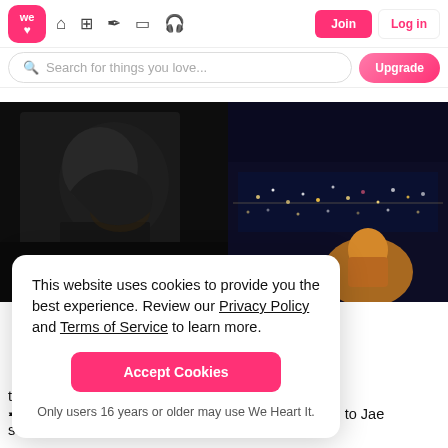We Heart It navigation bar with logo, home, grid, pen, frame, headphone icons, Join and Log in buttons
Search for things you love...
[Figure (photo): Dark photo of a person with dark hair]
[Figure (photo): Nighttime cityscape photo with person in foreground]
This website uses cookies to provide you the best experience. Review our Privacy Policy and Terms of Service to learn more.

[Accept Cookies]

Only users 16 years or older may use We Heart It.
they don't talk to each other.
➸They met thanks to Taeyong, who introduce Soleil to Jae someday when they were talking at the SM dance